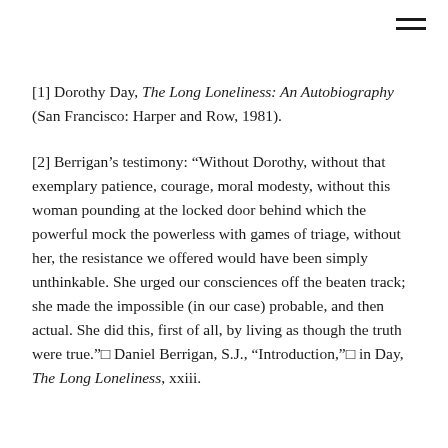[1] Dorothy Day, The Long Loneliness: An Autobiography (San Francisco: Harper and Row, 1981).
[2] Berrigan’s testimony: “Without Dorothy, without that exemplary patience, courage, moral modesty, without this woman pounding at the locked door behind which the powerful mock the powerless with games of triage, without her, the resistance we offered would have been simply unthinkable. She urged our consciences off the beaten track; she made the impossible (in our case) probable, and then actual. She did this, first of all, by living as though the truth were true.” Daniel Berrigan, S.J., “Introduction,” in Day, The Long Loneliness, xxiii.